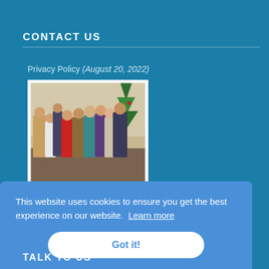CONTACT US
Privacy Policy (August 20, 2022)
[Figure (photo): Group photo of approximately 9 people posing together indoors near a Christmas tree, wearing business or semi-formal attire]
Society of Kabalarians of Canada
This website uses cookies to ensure you get the best experience on our website. Learn more
Got it!
TALK TO US